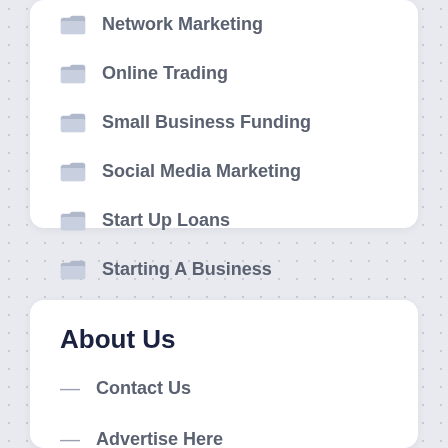Network Marketing
Online Trading
Small Business Funding
Social Media Marketing
Start Up Loans
Starting A Business
Successful Online Businesses
About Us
Contact Us
Advertise Here
Disclosure Policy